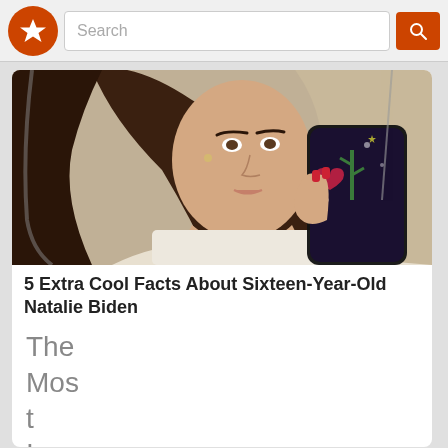Search
[Figure (photo): Young woman taking a mirror selfie holding a phone with a cactus/space-themed phone case]
5 Extra Cool Facts About Sixteen-Year-Old Natalie Biden
The Most Iconic Sce